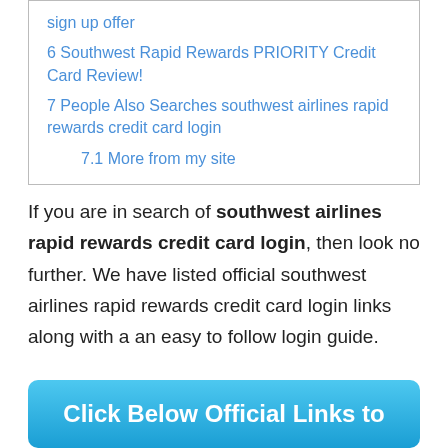sign up offer
6 Southwest Rapid Rewards PRIORITY Credit Card Review!
7 People Also Searches southwest airlines rapid rewards credit card login
7.1 More from my site
If you are in search of southwest airlines rapid rewards credit card login, then look no further. We have listed official southwest airlines rapid rewards credit card login links along with a an easy to follow login guide.
Click Below Official Links to